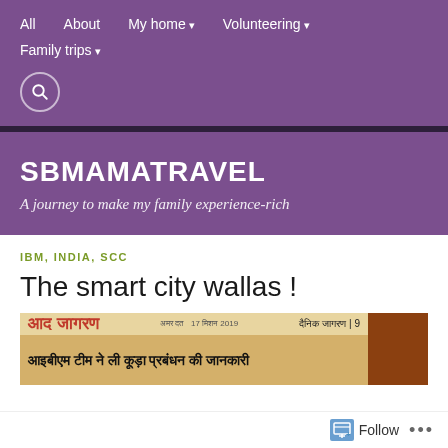All  About  My home ▾  Volunteering ▾  Family trips ▾
SBMAMATRAVEL
A journey to make my family experience-rich
IBM, INDIA, SCC
The smart city wallas !
[Figure (photo): Newspaper clipping in Hindi showing 'Dainik Jagran' newspaper with headline text in Hindi: आइबीएम टीम ने ली कूड़ा प्रबंधन की जानकारी, with a brown/orange image on the right side]